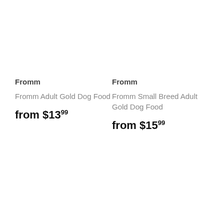Fromm
Fromm Adult Gold Dog Food
from $13.99
Fromm
Fromm Small Breed Adult Gold Dog Food
from $15.99